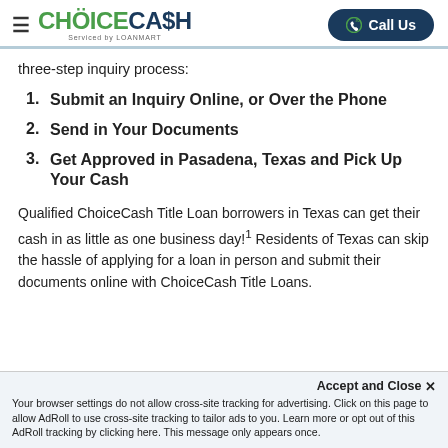[Figure (logo): ChoiceCash logo with hamburger menu and Call Us button]
three-step inquiry process:
1. Submit an Inquiry Online, or Over the Phone
2. Send in Your Documents
3. Get Approved in Pasadena, Texas and Pick Up Your Cash
Qualified ChoiceCash Title Loan borrowers in Texas can get their cash in as little as one business day!¹ Residents of Texas can skip the hassle of applying for a loan in person and submit their documents online with ChoiceCash Title Loans.
Accept and Close ✕ Your browser settings do not allow cross-site tracking for advertising. Click on this page to allow AdRoll to use cross-site tracking to tailor ads to you. Learn more or opt out of this AdRoll tracking by clicking here. This message only appears once.